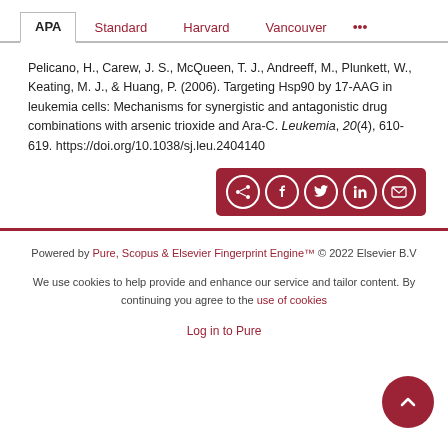APA | Standard | Harvard | Vancouver | ...
Pelicano, H., Carew, J. S., McQueen, T. J., Andreeff, M., Plunkett, W., Keating, M. J., & Huang, P. (2006). Targeting Hsp90 by 17-AAG in leukemia cells: Mechanisms for synergistic and antagonistic drug combinations with arsenic trioxide and Ara-C. Leukemia, 20(4), 610-619. https://doi.org/10.1038/sj.leu.2404140
[Figure (other): Social share buttons: share, Facebook, Twitter, LinkedIn, email]
Powered by Pure, Scopus & Elsevier Fingerprint Engine™ © 2022 Elsevier B.V
We use cookies to help provide and enhance our service and tailor content. By continuing you agree to the use of cookies
Log in to Pure